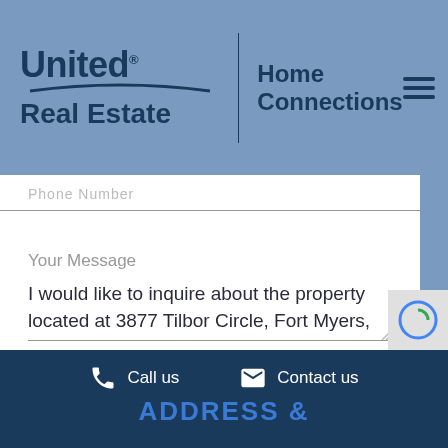[Figure (logo): United Real Estate Home Connections logo with hamburger menu icon on steel blue background]
Phone Number
Your Message
I would like to inquire about the property located at 3877 Tilbor Circle, Fort Myers,
SEND
Call us
Contact us
ADDRESS &